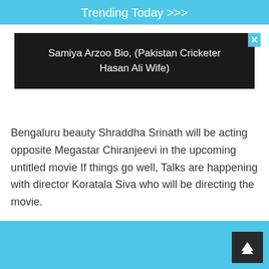Trending Today >>>
Samiya Arzoo Bio, (Pakistan Cricketer Hasan Ali Wife)
Bengaluru beauty Shraddha Srinath will be acting opposite Megastar Chiranjeevi in the upcoming untitled movie If things go well, Talks are happening with director Koratala Siva who will be directing the movie.
You may also like>>>Kriti Sanon